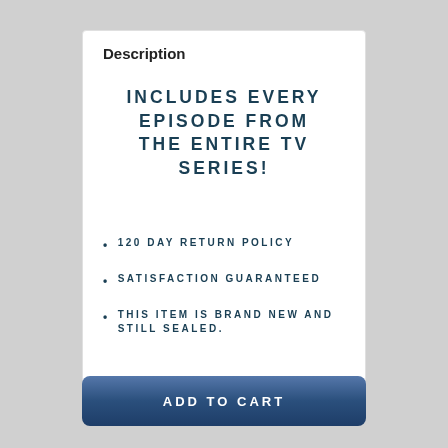Description
INCLUDES EVERY EPISODE FROM THE ENTIRE TV SERIES!
120 DAY RETURN POLICY
SATISFACTION GUARANTEED
THIS ITEM IS BRAND NEW AND STILL SEALED.
ADD TO CART